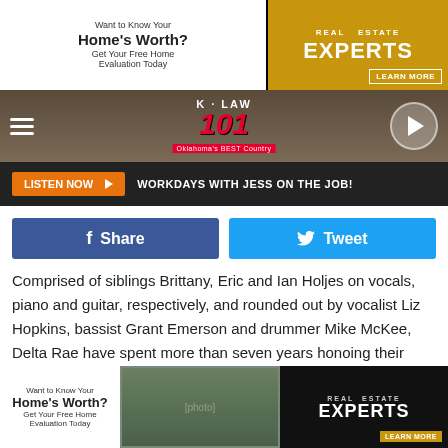[Figure (screenshot): Top advertisement banner: 'Want to Know Your Home's Worth? Get Your Free Home Evaluation Today' with Real Estate Experts logo and LEARN MORE button]
[Figure (logo): K-LAW 101 Oklahoma's BEST Country radio station header with hamburger menu and play button]
[Figure (screenshot): LISTEN NOW button and 'WORKDAYS WITH JESS ON THE JOB!' text bar]
[Figure (screenshot): Facebook Share and Twitter Tweet social sharing buttons]
Comprised of siblings Brittany, Eric and Ian Holjes on vocals, piano and guitar, respectively, and rounded out by vocalist Liz Hopkins, bassist Grant Emerson and drummer Mike McKee, Delta Rae have spent more than seven years honoing their haunting harmonies and intricate instrumentation and making a name for themselves through relentless touring and exploratory and well-formed music. Ahead of A Long and Happy Life's release on Friday (March
[Figure (screenshot): Bottom advertisement banner: 'Want to Know Your Home's Worth? Get Your Free Home Evaluation Today' with house photo, Real Estate Experts logo and LEARN MORE button]